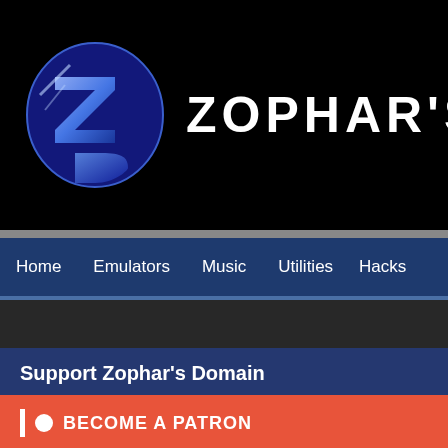[Figure (logo): Zophar's Domain logo with stylized ZD letters in blue and site name text]
ZOPHAR'S DOMA
Home  Emulators  Music  Utilities  Hacks
Cheats  Forums
Support Zophar's Domain
BECOME A PATRON
Search
Consoles
NES
SNES
Zo
Airu de Puz